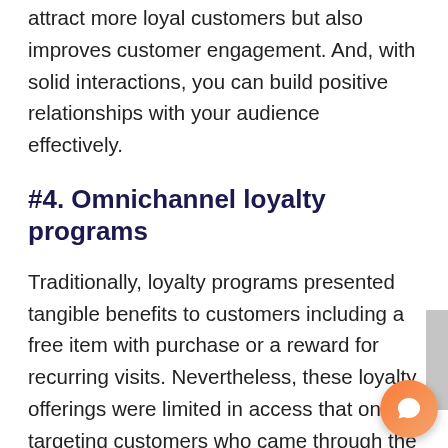attract more loyal customers but also improves customer engagement. And, with solid interactions, you can build positive relationships with your audience effectively.
#4. Omnichannel loyalty programs
Traditionally, loyalty programs presented tangible benefits to customers including a free item with purchase or a reward for recurring visits. Nevertheless, these loyalty offerings were limited in access that on targeting customers who came through the